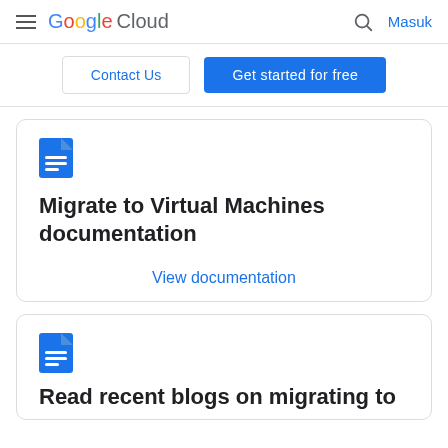Google Cloud — Masuk
Contact Us
Get started for free
Migrate to Virtual Machines documentation
View documentation
Read recent blogs on migrating to